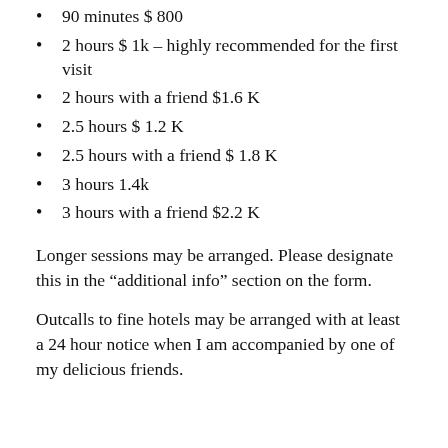90 minutes $ 800
2 hours $ 1k – highly recommended for the first visit
2 hours with a friend $1.6 K
2.5 hours $ 1.2 K
2.5 hours with a friend $ 1.8 K
3 hours 1.4k
3 hours with a friend $2.2 K
Longer sessions may be arranged. Please designate this in the “additional info” section on the form.
Outcalls to fine hotels may be arranged with at least a 24 hour notice when I am accompanied by one of my delicious friends.